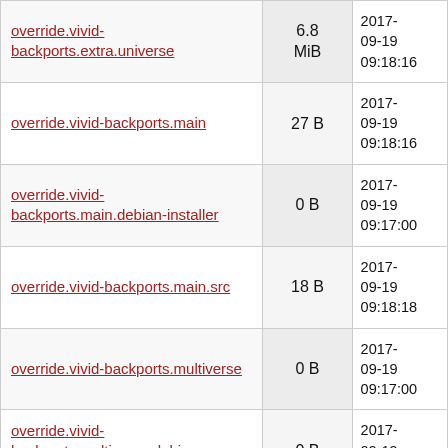| Name | Size | Date |
| --- | --- | --- |
| override.vivid-backports.extra.universe | 6.8 MiB | 2017-09-19 09:18:16 |
| override.vivid-backports.main | 27 B | 2017-09-19 09:18:16 |
| override.vivid-backports.main.debian-installer | 0 B | 2017-09-19 09:17:00 |
| override.vivid-backports.main.src | 18 B | 2017-09-19 09:18:18 |
| override.vivid-backports.multiverse | 0 B | 2017-09-19 09:17:00 |
| override.vivid-backports.multiverse.debian-installer | 0 B | 2017-09-19 09:17:00 |
| override.vivid-backports.multiverse.src | 0 B | 2017-09-19 09:17:00 |
| override.vivid-backports.restricted | 0 B | 2017-09-19 09:17:00 |